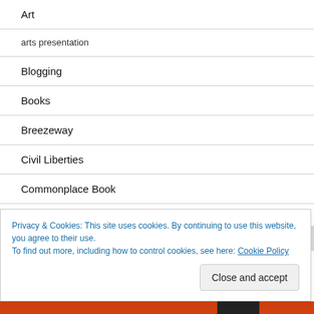Art
arts presentation
Blogging
Books
Breezeway
Civil Liberties
Commonplace Book
Computers
Privacy & Cookies: This site uses cookies. By continuing to use this website, you agree to their use.
To find out more, including how to control cookies, see here: Cookie Policy